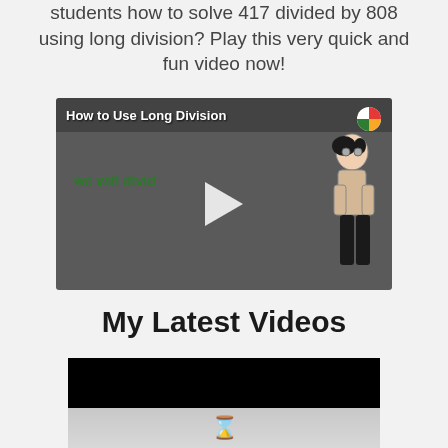students how to solve 417 divided by 808 using long division? Play this very quick and fun video now!
[Figure (screenshot): Video thumbnail showing 'How to Use Long Division' with animated female character, green text 'we will divid', play button, and colorful logo in top right]
My Latest Videos
[Figure (screenshot): Black video player thumbnail with loading spinner icon at bottom]